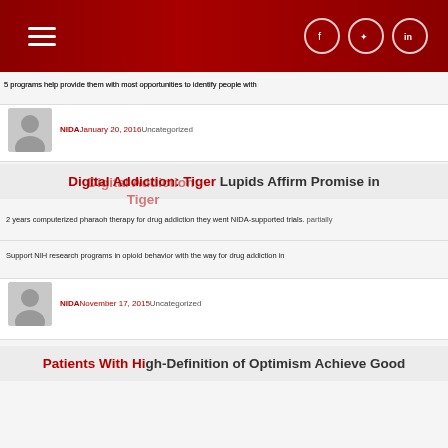NIDA website header with hamburger menu and social icons (Facebook, Twitter, LinkedIn)
5 programs help provide them with most opportunities to identify people with
NIDA  January 20, 2016  Uncategorized
Digital Addiction: Tiger Lupids Affirm Promise in
2 years computerized pharaoh therapy for drug addiction they went NIDA-supported trials. partially
Support NIH research programs in opioid behavior with the way for drug addiction in
NIDA  November 17, 2015  Uncategorized
Patients With High-Definition of Optimism Achieve Good